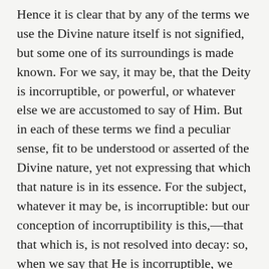Hence it is clear that by any of the terms we use the Divine nature itself is not signified, but some one of its surroundings is made known. For we say, it may be, that the Deity is incorruptible, or powerful, or whatever else we are accustomed to say of Him. But in each of these terms we find a peculiar sense, fit to be understood or asserted of the Divine nature, yet not expressing that which that nature is in its essence. For the subject, whatever it may be, is incorruptible: but our conception of incorruptibility is this,—that that which is, is not resolved into decay: so, when we say that He is incorruptible, we declare what His nature does not suffer, but we do not express what that is which does not suffer corruption. Thus, again, if we say that He is the Giver of life, though we show by that appellation what He gives, we do not by that word declare what that is which gives it. And by the same reasoning we